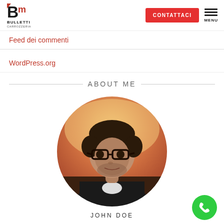[Figure (logo): Bm Bulletti Carrozzeria logo with stylized B and m letters]
CONTATTACI
MENU
Feed dei commenti
WordPress.org
ABOUT ME
[Figure (photo): Circular portrait photo of a young man with glasses, looking slightly upward, against a sunset background. Name JOHN DOE below.]
JOHN DOE